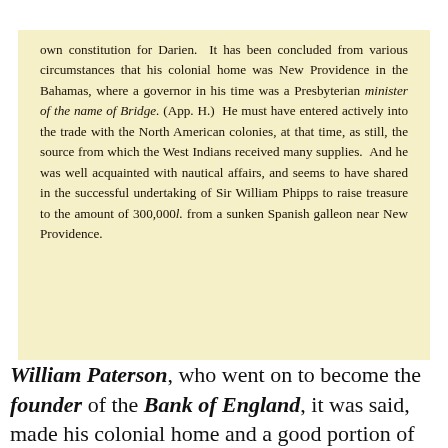own constitution for Darien. It has been concluded from various circumstances that his colonial home was New Providence in the Bahamas, where a governor in his time was a Presbyterian minister of the name of Bridge. (App. H.) He must have entered actively into the trade with the North American colonies, at that time, as still, the source from which the West Indians received many supplies. And he was well acquainted with nautical affairs, and seems to have shared in the successful undertaking of Sir William Phipps to raise treasure to the amount of 300,000l. from a sunken Spanish galleon near New Providence.
William Paterson, who went on to become the founder of the Bank of England, it was said, made his colonial home and a good portion of his wealth, in New Providence, in the Bahamas. Paterson, it was noted, was acquainted with Sir Henry Morgan, for